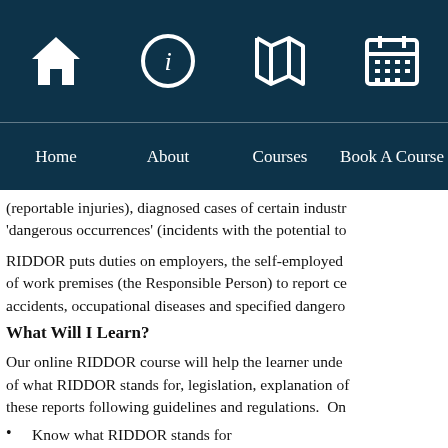Home | About | Courses | Book A Course
(reportable injuries), diagnosed cases of certain industr 'dangerous occurrences' (incidents with the potential to
RIDDOR puts duties on employers, the self-employed of work premises (the Responsible Person) to report ce accidents, occupational diseases and specified dangero
What Will I Learn?
Our online RIDDOR course will help the learner unde of what RIDDOR stands for, legislation, explanation of these reports following guidelines and regulations. On
Know what RIDDOR stands for
Be aware of what is reportable under RIDDOR